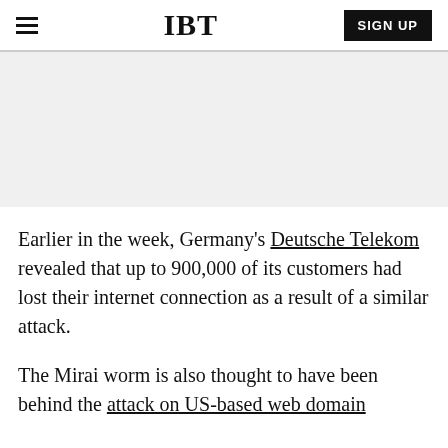IBT | SIGN UP
[Figure (other): Gray advertisement/banner area]
Earlier in the week, Germany's Deutsche Telekom revealed that up to 900,000 of its customers had lost their internet connection as a result of a similar attack.
The Mirai worm is also thought to have been behind the attack on US-based web domain